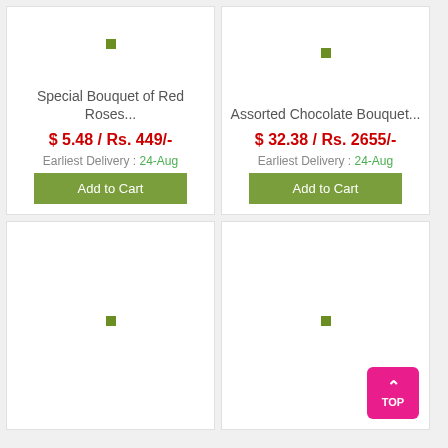[Figure (illustration): Product card placeholder image area with green square icon for Special Bouquet of Red Roses]
Special Bouquet of Red Roses...
$ 5.48 / Rs. 449/-
Earliest Delivery : 24-Aug
Add to Cart
[Figure (illustration): Product card placeholder image area with green square icon for Assorted Chocolate Bouquet]
Assorted Chocolate Bouquet...
$ 32.38 / Rs. 2655/-
Earliest Delivery : 24-Aug
Add to Cart
[Figure (illustration): Product card placeholder image area with green square icon (bottom left card)]
[Figure (illustration): Product card placeholder image area with green square icon (bottom right card)]